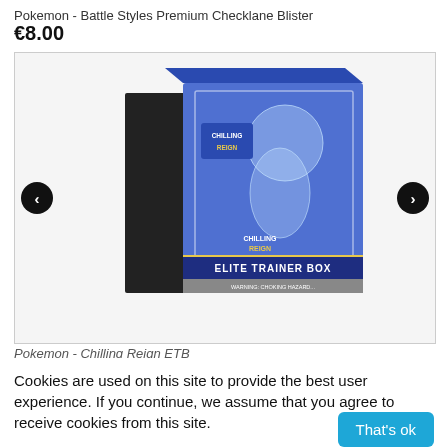Pokemon - Battle Styles Premium Checklane Blister
€8.00
[Figure (photo): Pokemon Chilling Reign Elite Trainer Box product image showing a blue box with a Pokemon character (Glaceon/Ice type) on the front, with 'CHILLING REIGN' and 'ELITE TRAINER BOX' text on the box. Navigation arrows on left and right sides.]
Pokemon - Chilling Reign ETB
Cookies are used on this site to provide the best user experience. If you continue, we assume that you agree to receive cookies from this site.
That's ok